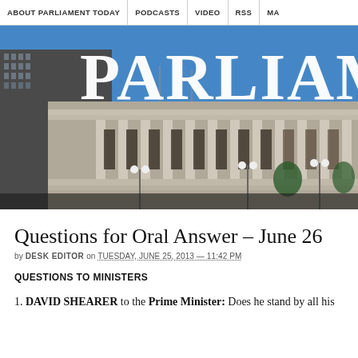ABOUT PARLIAMENT TODAY | PODCASTS | VIDEO | RSS | MA
[Figure (photo): Photograph of the New Zealand Parliament building (Beehive area) with a blue sky background and large white bold text 'PARLIAME' overlaid at the top]
Questions for Oral Answer – June 26
by DESK EDITOR on TUESDAY, JUNE 25, 2013 — 11:42 PM
QUESTIONS TO MINISTERS
1. DAVID SHEARER to the Prime Minister: Does he stand by all his